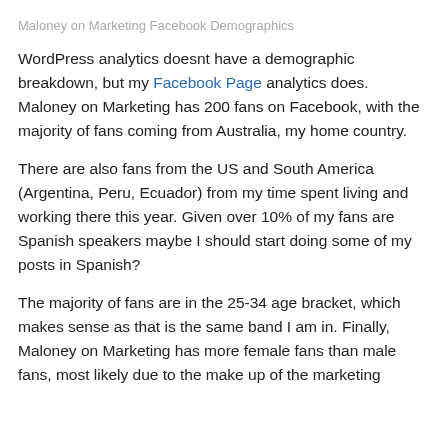Maloney on Marketing Facebook Demographics
WordPress analytics doesnt have a demographic breakdown, but my Facebook Page analytics does. Maloney on Marketing has 200 fans on Facebook, with the majority of fans coming from Australia, my home country.
There are also fans from the US and South America (Argentina, Peru, Ecuador) from my time spent living and working there this year. Given over 10% of my fans are Spanish speakers maybe I should start doing some of my posts in Spanish?
The majority of fans are in the 25-34 age bracket, which makes sense as that is the same band I am in. Finally, Maloney on Marketing has more female fans than male fans, most likely due to the make up of the marketing